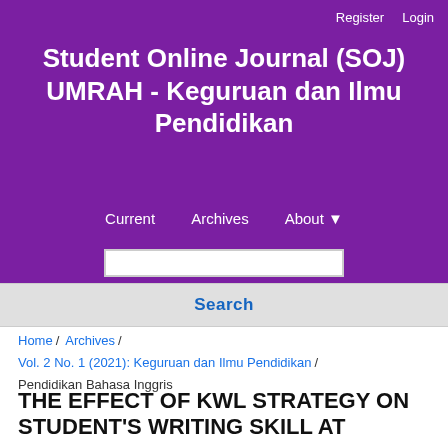Register  Login
Student Online Journal (SOJ) UMRAH - Keguruan dan Ilmu Pendidikan
Current   Archives   About
Search
Home / Archives / Vol. 2 No. 1 (2021): Keguruan dan Ilmu Pendidikan / Pendidikan Bahasa Inggris
THE EFFECT OF KWL STRATEGY ON STUDENT'S WRITING SKILL AT